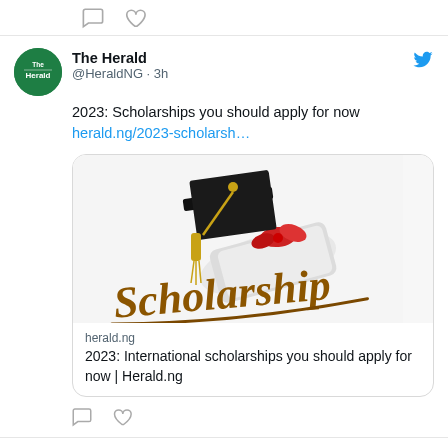[Figure (screenshot): Top partial tweet icon strip showing comment bubble and heart icons]
The Herald @HeraldNG · 3h
2023: Scholarships you should apply for now herald.ng/2023-scholarsh…
[Figure (illustration): Scholarship card image showing a graduation cap, diploma scroll, and the word 'Scholarship' in gold/brown brush lettering]
herald.ng
2023: International scholarships you should apply for now | Herald.ng
[Figure (screenshot): Tweet action icons: comment bubble and heart]
The Herald @HeraldNG · 3h
Factors to consider when applying for